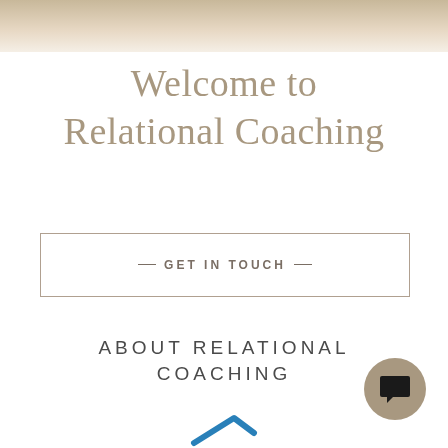[Figure (photo): Partial photo of warm-toned interior background at the top of the page]
Welcome to Relational Coaching
— GET IN TOUCH —
ABOUT RELATIONAL COACHING
[Figure (illustration): Chat bubble icon inside a circular taupe button in the bottom-right corner]
[Figure (illustration): Blue arrow partially visible at the bottom center of the page]